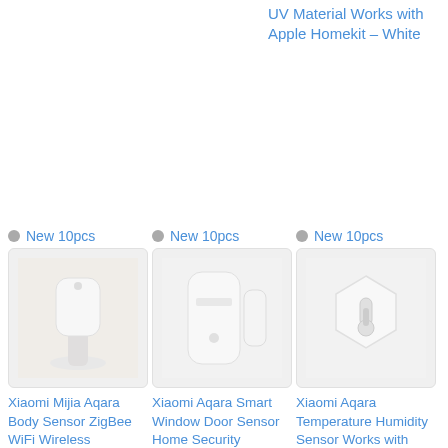UV Material Works with Apple Homekit – White
New 10pcs
[Figure (photo): Xiaomi Mijia Aqara Body Sensor white device on stand]
Xiaomi Mijia Aqara Body Sensor ZigBee WiFi Wireless Connection Work for Xiaomi Smart Home (Works with Apple Homekit) -White
New 10pcs
[Figure (photo): Xiaomi Aqara Smart Window Door Sensor white device]
Xiaomi Aqara Smart Window Door Sensor Home Security Equipment Works with Apple Homekit Need to Work together with Aqara Gateway
New 10pcs
[Figure (photo): Xiaomi Aqara Temperature Humidity Sensor white hexagonal device]
Xiaomi Aqara Temperature Humidity Sensor Works with Apple Homekit, Other Aqara Smart Home Devices – White